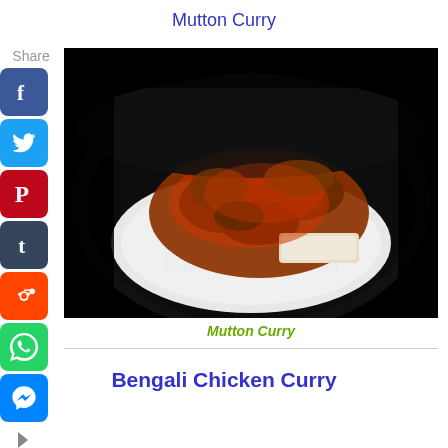Mutton Curry
Share
[Figure (photo): A bowl with white rice topped with mutton curry pieces in a red-brown sauce, served in a dark bowl, photographed from above]
Mutton Curry
Bengali Chicken Curry